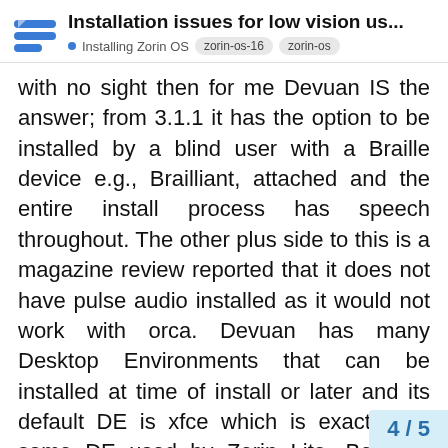Installation issues for low vision us...
with no sight then for me Devuan IS the answer; from 3.1.1 it has the option to be installed by a blind user with a Braille device e.g., Brailliant, attached and the entire install process has speech throughout. The other plus side to this is a magazine review reported that it does not have pulse audio installed as it would not work with orca. Devuan has many Desktop Environments that can be installed at time of install or later and its default DE is xfce which is exactly the same DE used by Zorin Lite. Before I retired I was a Vision Support Technician, translating texts into Braille and Large Print for low/no-vision users for an Integrated Resource at a Comprehensive School
4 / 5